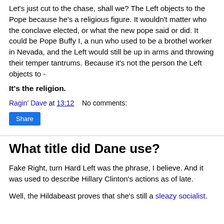Let's just cut to the chase, shall we? The Left objects to the Pope because he's a religious figure. It wouldn't matter who the conclave elected, or what the new pope said or did. It could be Pope Buffy I, a nun who used to be a brothel worker in Nevada, and the Left would still be up in arms and throwing their temper tantrums. Because it's not the person the Left objects to -
It's the religion.
Ragin' Dave at 13:12    No comments:
Share
What title did Dane use?
Fake Right, turn Hard Left was the phrase, I believe. And it was used to describe Hillary Clinton's actions as of late.
Well, the Hildabeast proves that she's still a sleazy socialist.